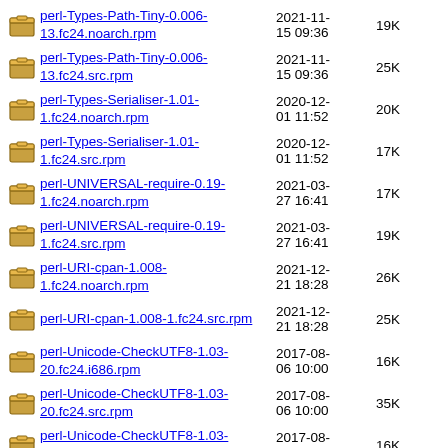perl-Types-Path-Tiny-0.006-13.fc24.noarch.rpm 2021-11-15 09:36 19K
perl-Types-Path-Tiny-0.006-13.fc24.src.rpm 2021-11-15 09:36 25K
perl-Types-Serialiser-1.01-1.fc24.noarch.rpm 2020-12-01 11:52 20K
perl-Types-Serialiser-1.01-1.fc24.src.rpm 2020-12-01 11:52 17K
perl-UNIVERSAL-require-0.19-1.fc24.noarch.rpm 2021-03-27 16:41 17K
perl-UNIVERSAL-require-0.19-1.fc24.src.rpm 2021-03-27 16:41 19K
perl-URI-cpan-1.008-1.fc24.noarch.rpm 2021-12-21 18:28 26K
perl-URI-cpan-1.008-1.fc24.src.rpm 2021-12-21 18:28 25K
perl-Unicode-CheckUTF8-1.03-20.fc24.i686.rpm 2017-08-06 10:00 16K
perl-Unicode-CheckUTF8-1.03-20.fc24.src.rpm 2017-08-06 10:00 35K
perl-Unicode-CheckUTF8-1.03-20.fc24.x86_64.rpm 2017-08-06 10:00 16K
perl-Unicode-Map-0.112- 2017-08- 184K